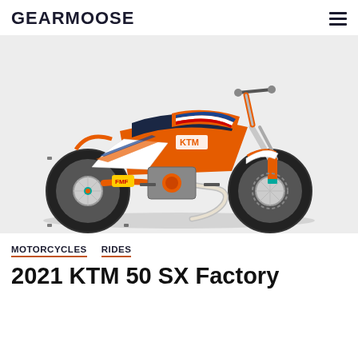GEARMOOSE
[Figure (photo): Side profile photo of a 2021 KTM 50 SX Factory Edition mini motocross dirt bike. The bike features orange bodywork with white, blue, and red graphics, an orange frame, spoke wheels with knobby tires, and a chrome exhaust pipe. The background is light gray/white.]
MOTORCYCLES  RIDES
2021 KTM 50 SX Factory